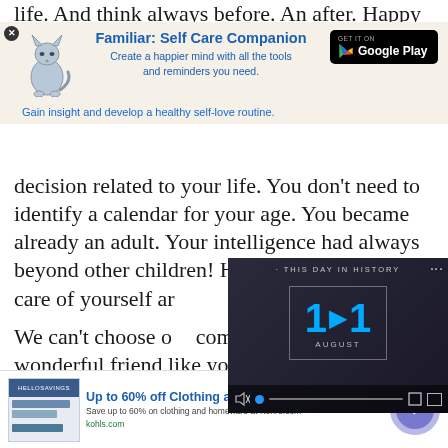life. And think always before. An after. Happy
[Figure (infographic): Ad banner for 'Familiar: Self Care Companion' app with cat illustration and Google Play button. Text: Create a happier mind with all the tools and reminders you need. Gain insight and develop a healthy self-love routine.]
decision related to your life. You don't need to identify a calendar for your age. You became already an adult. Your intelligence had always beyond other children! Happy birthday take care of yourself and have a wonderful day.
[Figure (screenshot): Video overlay showing 'THIS DAY IN HISTORY' with date 11 AUGUST and play button, with video controls at bottom]
We can't choose our coming to our life a wonderful friend like you are. Until today,
[Figure (infographic): Bottom ad banner: Up to 60% off Clothing at Kohl's. Save up to 60% on clothing and homeware at Kohl's.com. kohls.com]